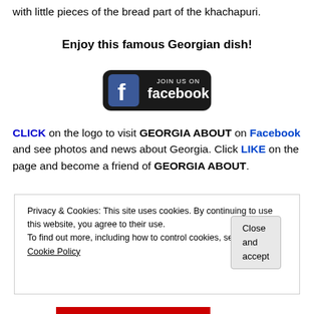with little pieces of the bread part of the khachapuri.
Enjoy this famous Georgian dish!
[Figure (logo): Facebook 'Join us on Facebook' button logo with blue 'f' icon on dark rounded rectangle background]
CLICK on the logo to visit GEORGIA ABOUT on Facebook and see photos and news about Georgia. Click LIKE on the page and become a friend of GEORGIA ABOUT.
Privacy & Cookies: This site uses cookies. By continuing to use this website, you agree to their use.
To find out more, including how to control cookies, see here: Cookie Policy
Close and accept